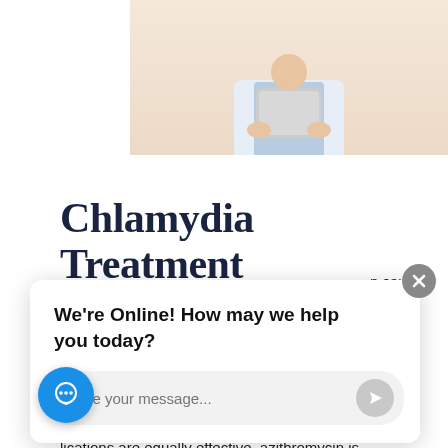[Figure (photo): Doctor in white coat holding a tablet, cropped to torso, on a beige/cream background]
Chlamydia Treatment
...n caught early. If ...s health problems ...ase (PID) and ectopic pregnancy in women...
...are two ...by the CDC, azithromycin, and doxycycline. While both ...lications are equally effective, azithromycin is ...inistered in a single dose while doxycycline is offered as a 7-day treatment. Most common side effects of either treatment is nausea, upset...
[Figure (screenshot): Live chat widget overlay with prompt 'We're Online! How may we help you today?' and a message input field]